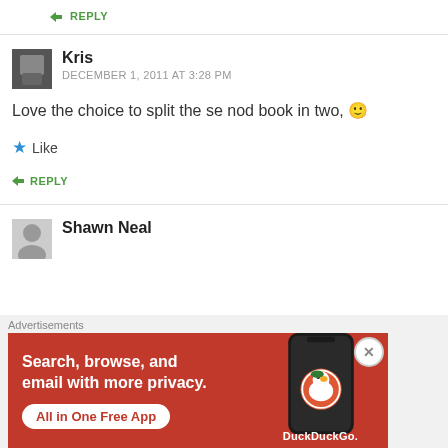REPLY
Kris
DECEMBER 1, 2011 AT 3:28 PM
Love the choice to split the se nod book in two, 🙂
Like
REPLY
Shawn Neal
[Figure (screenshot): DuckDuckGo advertisement banner: orange/red background with text 'Search, browse, and email with more privacy. All in One Free App' and a phone showing the DuckDuckGo logo]
Advertisements